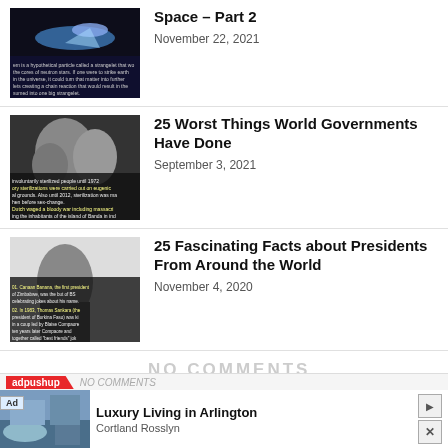[Figure (photo): Thumbnail image of a comet/meteor in space on dark background with overlaid text about strangelet particles]
Space – Part 2
November 22, 2021
[Figure (photo): Black and white photo of people with overlaid yellow text about sterilization and Dutch war actions]
25 Worst Things World Governments Have Done
September 3, 2021
[Figure (photo): Photo of a man in suit with overlaid yellow text listing facts about presidents]
25 Fascinating Facts about Presidents From Around the World
November 4, 2020
NO COMMENTS
[Figure (photo): Advertisement: Luxury Living in Arlington – Cortland Rosslyn, with image of building with pool]